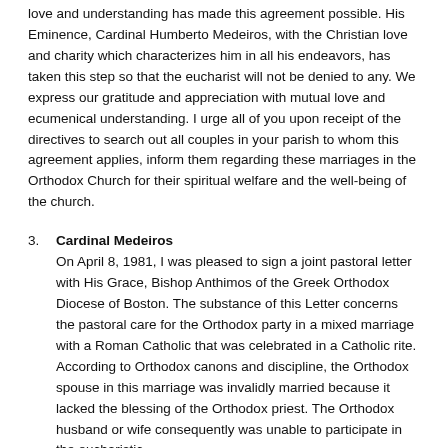love and understanding has made this agreement possible. His Eminence, Cardinal Humberto Medeiros, with the Christian love and charity which characterizes him in all his endeavors, has taken this step so that the eucharist will not be denied to any. We express our gratitude and appreciation with mutual love and ecumenical understanding. I urge all of you upon receipt of the directives to search out all couples in your parish to whom this agreement applies, inform them regarding these marriages in the Orthodox Church for their spiritual welfare and the well-being of the church.
Cardinal Medeiros
On April 8, 1981, I was pleased to sign a joint pastoral letter with His Grace, Bishop Anthimos of the Greek Orthodox Diocese of Boston. The substance of this Letter concerns the pastoral care for the Orthodox party in a mixed marriage with a Roman Catholic that was celebrated in a Catholic rite. According to Orthodox canons and discipline, the Orthodox spouse in this marriage was invalidly married because it lacked the blessing of the Orthodox priest. The Orthodox husband or wife consequently was unable to participate in the eucharistic